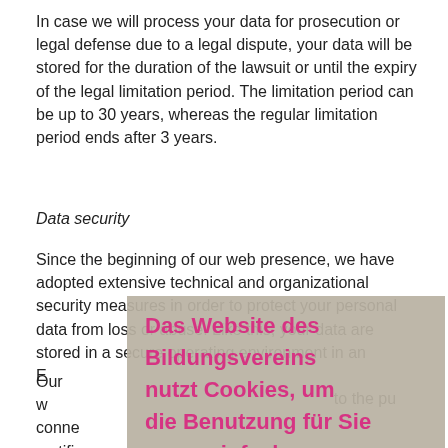In case we will process your data for prosecution or legal defense due to a legal dispute, your data will be stored for the duration of the lawsuit or until the expiry of the legal limitation period. The limitation period can be up to 30 years, whereas the regular limitation period ends after 3 years.
Data security
Since the beginning of our web presence, we have adopted extensive technical and organizational security measures in order to protect your personal data from loss or abuse. Like this, your data are stored in a secure operating environment in an E[...] to the pu[...]
Our w[...] conne[...] certifi[...] worthy websi[...] y conne[...]
[Figure (screenshot): Cookie consent overlay in German: 'Das Website des Bildungsvereins nutzt Cookies, um die Benutzung für Sie zu vereinfachen.' with buttons 'Mehr Informationen' and 'Einverstanden']